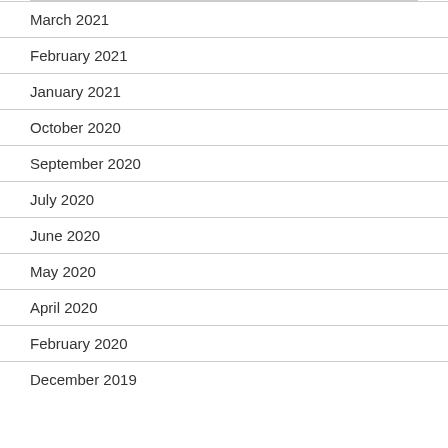March 2021
February 2021
January 2021
October 2020
September 2020
July 2020
June 2020
May 2020
April 2020
February 2020
December 2019